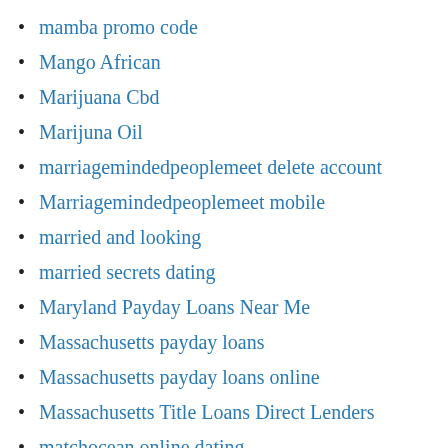mamba promo code
Mango African
Marijuana Cbd
Marijuna Oil
marriagemindedpeoplemeet delete account
Marriagemindedpeoplemeet mobile
married and looking
married secrets dating
Maryland Payday Loans Near Me
Massachusetts payday loans
Massachusetts payday loans online
Massachusetts Title Loans Direct Lenders
matchocean online dating
mature dating
mature dating dating
Mature Trans Chat Rooms